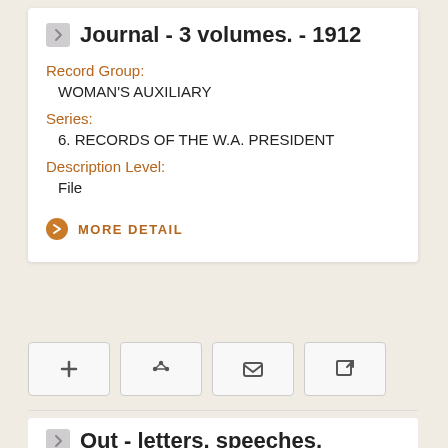Journal - 3 volumes. - 1912
Record Group:
WOMAN'S AUXILIARY
Series:
6. RECORDS OF THE W.A. PRESIDENT
Description Level:
File
MORE DETAIL
Out - letters, speeches,